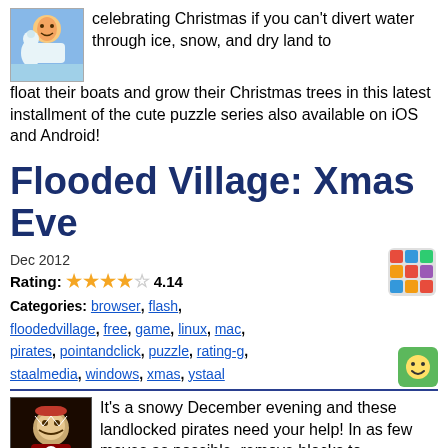celebrating Christmas if you can't divert water through ice, snow, and dry land to float their boats and grow their Christmas trees in this latest installment of the cute puzzle series also available on iOS and Android!
Flooded Village: Xmas Eve
Dec 2012
Rating: 4.14
Categories: browser, flash, floodedvillage, free, game, linux, mac, pirates, pointandclick, puzzle, rating-g, staalmedia, windows, xmas, ystaal
It's a snowy December evening and these landlocked pirates need your help! In as few moves as possible, remove blocks to send them a flood of water so they can be happily at sea—yet don't drown the village elves while you're at it! Earn extra points by figuring out how to get ice to Christmas trees without turning people into frozen chunks, in this eighteen-level holiday-themed game, a major release of Staal Media's l...